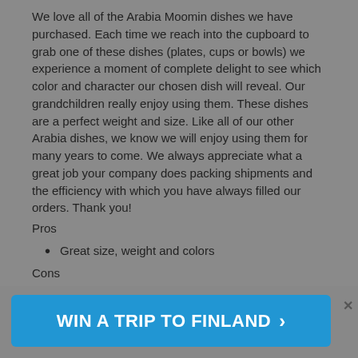We love all of the Arabia Moomin dishes we have purchased. Each time we reach into the cupboard to grab one of these dishes (plates, cups or bowls) we experience a moment of complete delight to see which color and character our chosen dish will reveal. Our grandchildren really enjoy using them. These dishes are a perfect weight and size. Like all of our other Arabia dishes, we know we will enjoy using them for many years to come. We always appreciate what a great job your company does packing shipments and the efficiency with which you have always filled our orders. Thank you!
Pros
Great size, weight and colors
Cons
We wish you stocked all of the Moomin characters for each dish type.
[Figure (other): Blue banner advertisement: WIN A TRIP TO FINLAND with a right arrow, with an X close button]